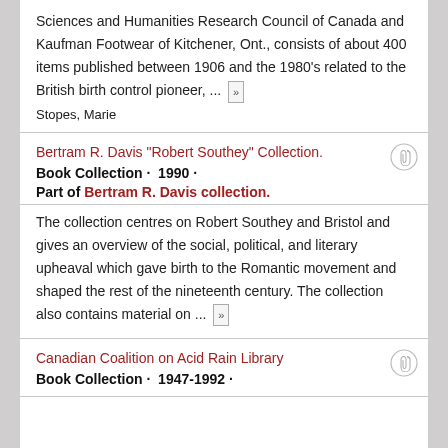Sciences and Humanities Research Council of Canada and Kaufman Footwear of Kitchener, Ont., consists of about 400 items published between 1906 and the 1980's related to the British birth control pioneer, ... »
Stopes, Marie
Bertram R. Davis "Robert Southey" Collection.
Book Collection · 1990 ·
Part of Bertram R. Davis collection.
The collection centres on Robert Southey and Bristol and gives an overview of the social, political, and literary upheaval which gave birth to the Romantic movement and shaped the rest of the nineteenth century. The collection also contains material on ... »
Canadian Coalition on Acid Rain Library
Book Collection · 1947-1992 ·